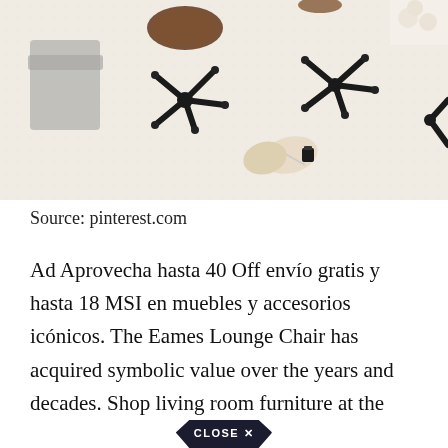[Figure (photo): Interior room scene showing modern lounge chairs with black bases on a white textured rug, with books and a candle on the floor, photographed from above]
Source: pinterest.com
Ad Aprovecha hasta 40 Off envío gratis y hasta 18 MSI en muebles y accesorios icónicos. The Eames Lounge Chair has acquired symbolic value over the years and decades. Shop living room furniture at the
CLOSE ✕